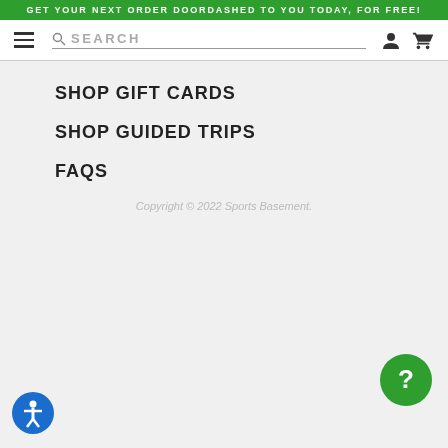GET YOUR NEXT ORDER DOORDASHED TO YOU TODAY, FOR FREE!
[Figure (screenshot): Navigation bar with hamburger menu, search bar, user icon, and cart icon]
SHOP GIFT CARDS
SHOP GUIDED TRIPS
FAQS
Copyright © 2022 Sports Basement.
[Figure (illustration): Green circular help/chat bubble with white question mark]
[Figure (illustration): Blue circular accessibility icon with white person symbol]